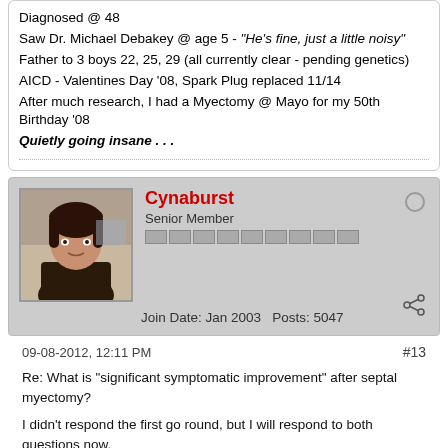Diagnosed @ 48
Saw Dr. Michael Debakey @ age 5 - "He's fine, just a little noisy"
Father to 3 boys 22, 25, 29 (all currently clear - pending genetics)
AICD - Valentines Day '08, Spark Plug replaced 11/14
After much research, I had a Myectomy @ Mayo for my 50th Birthday '08
Quietly going insane . . .
Cynaburst
Senior Member
Join Date: Jan 2003   Posts: 5047
[Figure (photo): Profile photo of user Cynaburst - woman with dark hair]
09-08-2012, 12:11 PM
#13
Re: What is &quot;significant symptomatic improvement&quot; after septal myectomy?

I didn't respond the first go round, but I will respond to both questions now.

Before surgery, I got to the point where I couldn't walk up the slightest incline without severe symptoms and I was avoiding even a slight grade. Now, I can walk the steepest hill without a problem. I was also on the verge of fainting often. That doesn't happen anymore. I had alot of chest pain before the surgery, esp. after meals. Now, I rarely have chest pain (though that did still take some medication adjustment after surgery).

As for exercise, I went to the gym, I will respond to both questions. For...